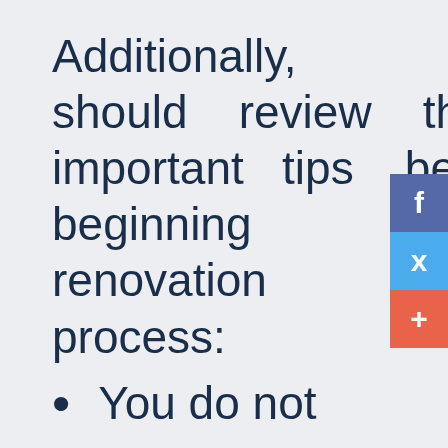Additionally, you should review these important tips before beginning the renovation process:
You do not